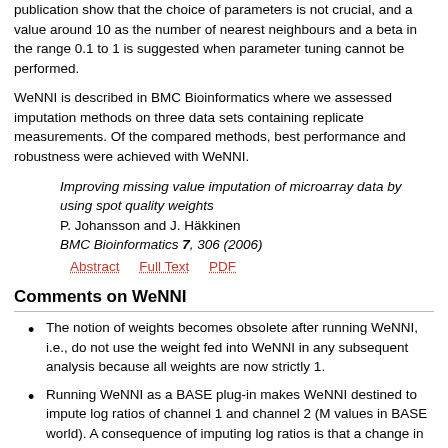publication show that the choice of parameters is not crucial, and a value around 10 as the number of nearest neighbours and a beta in the range 0.1 to 1 is suggested when parameter tuning cannot be performed.
WeNNI is described in BMC Bioinformatics where we assessed imputation methods on three data sets containing replicate measurements. Of the compared methods, best performance and robustness were achieved with WeNNI.
Improving missing value imputation of microarray data by using spot quality weights
P. Johansson and J. Häkkinen
BMC Bioinformatics 7, 306 (2006)
Abstract   Full Text   PDF
Comments on WeNNI
The notion of weights becomes obsolete after running WeNNI, i.e., do not use the weight fed into WeNNI in any subsequent analysis because all weights are now strictly 1.
Running WeNNI as a BASE plug-in makes WeNNI destined to impute log ratios of channel 1 and channel 2 (M values in BASE world). A consequence of imputing log ratios is that a change in ratio cannot be assigned to a specific channel. This implies that log(channel1*channel2) (A values in BASE world) become undefined and useless. However, on request from BASE users it was decided that A values should not be affected by the transformation in cases where